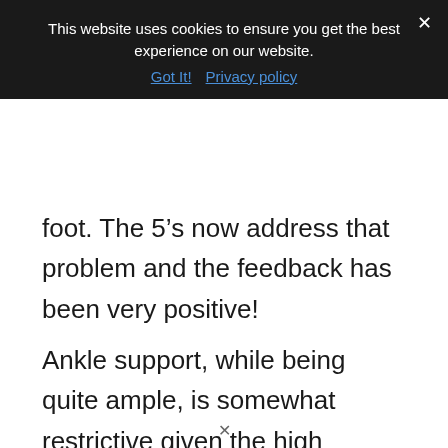This website uses cookies to ensure you get the best experience on our website.
Got It!  Privacy policy
foot.  The 5's now address that problem and the feedback has been very positive!
Ankle support, while being quite ample, is somewhat restrictive given the high supportive collar at the back of the shoe, which offers lots of stability but little in the way of flexibility and that limits comfort.